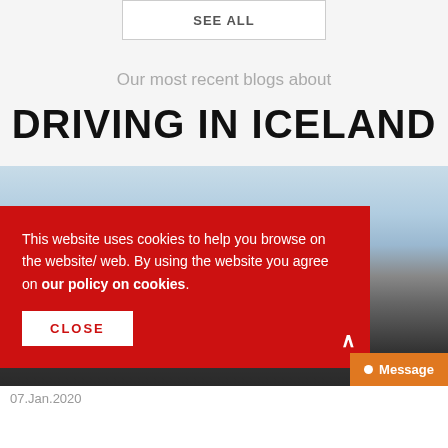SEE ALL
Our most recent blogs about
DRIVING IN ICELAND
[Figure (photo): Landscape photo of Icelandic terrain with dark volcanic ground and sky with clouds]
This website uses cookies to help you browse on the website/ web. By using the website you agree on our policy on cookies.
CLOSE
Message
07.Jan.2020